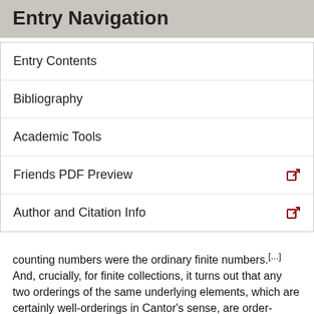Entry Navigation
Entry Contents
Bibliography
Academic Tools
Friends PDF Preview
Author and Citation Info
counting numbers were the ordinary finite numbers.[...] And, crucially, for finite collections, it turns out that any two orderings of the same underlying elements, which are certainly well-orderings in Cantor's sense, are order-isomorphic, i.e., not essentially distinct.[15] This means that one can in effect identify a number arrived at by counting (an ordinal number) with the cardinal number of the collection counted. Thus, the ordinary natural numbers appear in two guises, and it is possible to determine the size of a finite collection directly by counting it. Cantor observed that this ceases to be the case in rather dramatic fashion...